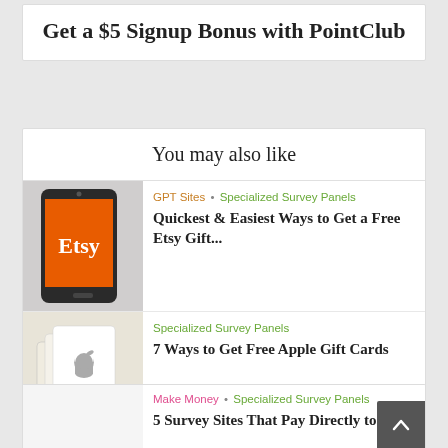Get a $5 Signup Bonus with PointClub
You may also like
[Figure (photo): Smartphone displaying Etsy orange logo on screen]
GPT Sites • Specialized Survey Panels
Quickest & Easiest Ways to Get a Free Etsy Gift...
[Figure (photo): Hand holding Apple gift cards with Apple logo]
Specialized Survey Panels
7 Ways to Get Free Apple Gift Cards
GPT Sites • Make Money
Make Quick Cash with 6 GPT Sites That Pay Instantly
Make Money • Specialized Survey Panels
5 Survey Sites That Pay Directly to